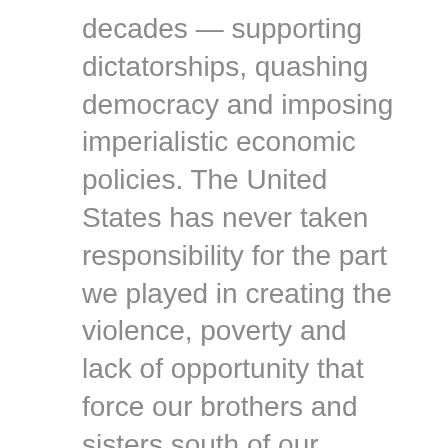decades — supporting dictatorships, quashing democracy and imposing imperialistic economic policies. The United States has never taken responsibility for the part we played in creating the violence, poverty and lack of opportunity that force our brothers and sisters south of our borders to uproot their families and flee north.
Eradicating the problems that force people to leave their